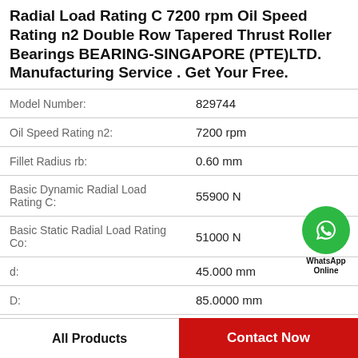Radial Load Rating C 7200 rpm Oil Speed Rating n2 Double Row Tapered Thrust Roller Bearings BEARING-SINGAPORE (PTE)LTD. Manufacturing Service . Get Your Free.
| Property | Value |
| --- | --- |
| Model Number: | 829744 |
| Oil Speed Rating n2: | 7200 rpm |
| Fillet Radius rb: | 0.60 mm |
| Basic Dynamic Radial Load Rating C: | 55900 N |
| Basic Static Radial Load Rating Co: | 51000 N |
| d: | 45.000 mm |
| D: | 85.0000 mm |
| Fillet Radius ... | ... |
[Figure (logo): WhatsApp Online green circle icon with phone handset, labeled WhatsApp Online]
All Products
Contact Now